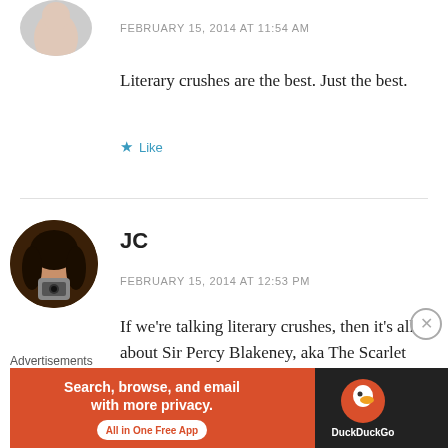[Figure (photo): Partial avatar photo of a person at top left, cropped circle]
FEBRUARY 15, 2014 AT 11:54 AM
Literary crushes are the best. Just the best.
Like
[Figure (photo): Avatar photo of JC - a woman with curly dark hair holding a camera]
JC
FEBRUARY 15, 2014 AT 12:53 PM
If we're talking literary crushes, then it's all about Sir Percy Blakeney, aka The Scarlet
Advertisements
[Figure (screenshot): DuckDuckGo advertisement banner: Search, browse, and email with more privacy. All in One Free App]